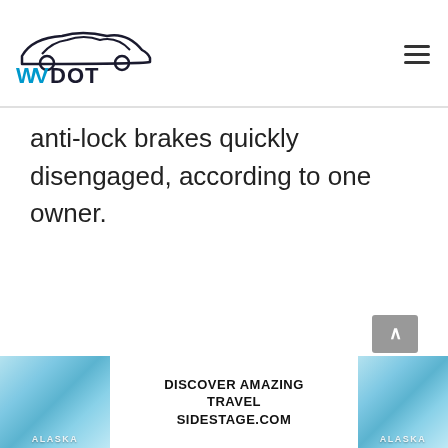WVDOT
anti-lock brakes quickly disengaged, according to one owner.
[Figure (infographic): Advertisement banner: Alaska travel ad with ice/glacier imagery on left and right panels, center text reading DISCOVER AMAZING TRAVEL SIDESTAGE.COM]